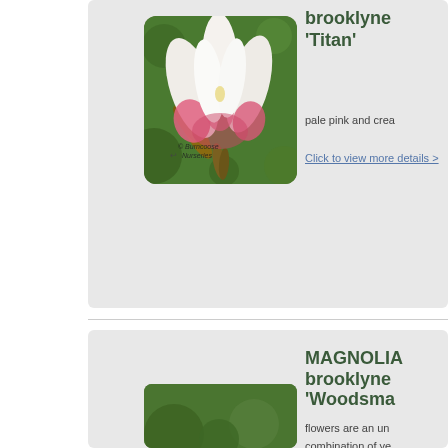MAGNOLIA brooklynensis 'Titan'
[Figure (photo): Close-up photo of a Magnolia brooklynensis 'Titan' flower with pale pink and cream petals, pink base, green background. Watermark: © Burncoose Nurseries]
pale pink and crea
Click to view more details >
MAGNOLIA brooklynensis 'Woodsma
flowers are an un combination of ye